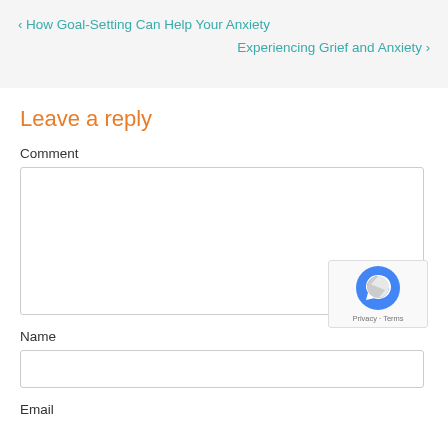‹ How Goal-Setting Can Help Your Anxiety
Experiencing Grief and Anxiety ›
Leave a reply
Comment
Name
Email